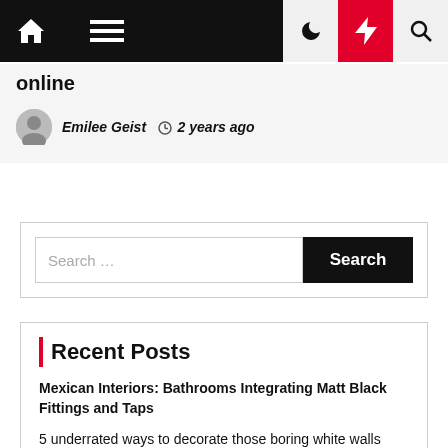Navigation bar with home, menu, moon, bolt, search icons
online
Emilee Geist  2 years ago
Search ...
Recent Posts
Mexican Interiors: Bathrooms Integrating Matt Black Fittings and Taps
5 underrated ways to decorate those boring white walls